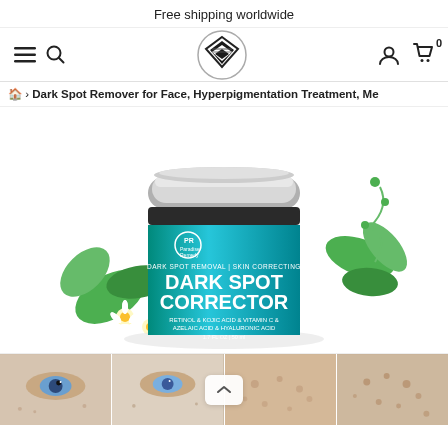Free shipping worldwide
[Figure (screenshot): E-commerce website navigation bar with hamburger menu, search icon, brand logo (triangle/diamond shaped), user account icon, and shopping cart with badge '0']
🏠 › Dark Spot Remover for Face, Hyperpigmentation Treatment, Me
[Figure (photo): Product photo of Paradise Remedy Dark Spot Corrector cream jar (1.7 FL OZ / 50ml) with teal/turquoise label showing 'DARK SPOT REMOVAL | SKIN CORRECTING' and ingredients 'RETINOL & KOJIC ACID & VITAMIN C & AZELAIC ACID & HYALURONIC ACID', surrounded by chamomile flowers and green leaves]
[Figure (photo): Row of four thumbnail images showing before/after close-up photos of faces with dark spots/hyperpigmentation around the eye and cheek area]